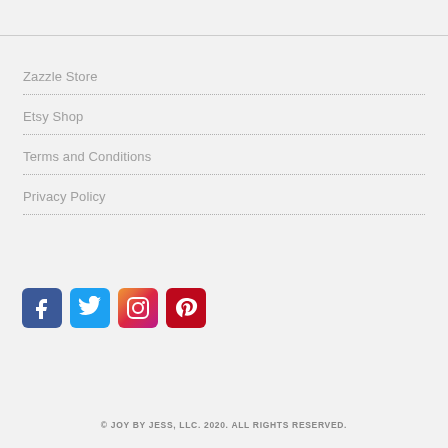Zazzle Store
Etsy Shop
Terms and Conditions
Privacy Policy
[Figure (logo): Social media icons: Facebook, Twitter, Instagram, Pinterest]
© JOY BY JESS, LLC. 2020. ALL RIGHTS RESERVED.